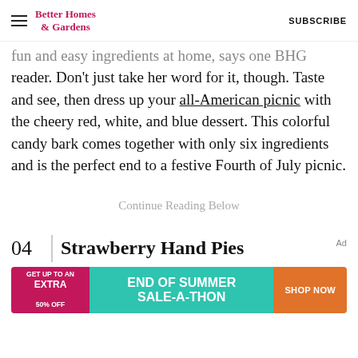Better Homes & Gardens | SUBSCRIBE
fun and easy ingredients at home, says one BHG reader. Don't just take her word for it, though. Taste and see, then dress up your all-American picnic with the cheery red, white, and blue dessert. This colorful candy bark comes together with only six ingredients and is the perfect end to a festive Fourth of July picnic.
Continue Reading Below
04 Strawberry Hand Pies
[Figure (infographic): Advertisement banner: GET UP TO AN EXTRA 50% OFF | END OF SUMMER SALE-A-THON | SHOP NOW]